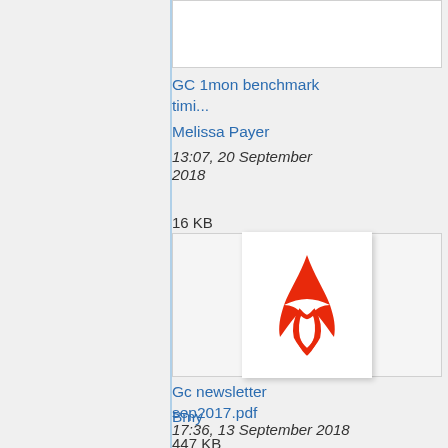[Figure (screenshot): Thumbnail placeholder for GC 1mon benchmark timing file (white/light box)]
GC 1mon benchmark timi...
Melissa Payer
13:07, 20 September 2018
16 KB
[Figure (screenshot): Thumbnail showing Adobe Acrobat PDF icon (red Acrobat logo on white background)]
Gc newsletter sep2017.pdf
Bmy
17:36, 13 September 2018
447 KB